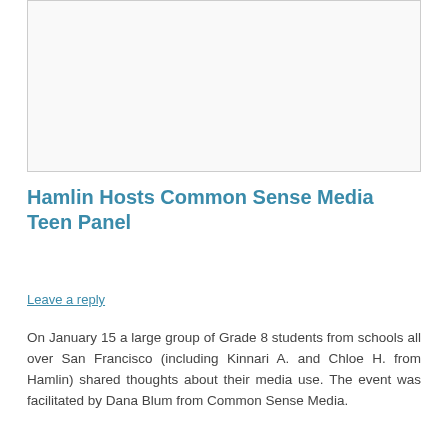[Figure (photo): Placeholder image box with light border, no image content visible]
Hamlin Hosts Common Sense Media Teen Panel
Leave a reply
On January 15 a large group of Grade 8 students from schools all over San Francisco (including Kinnari A. and Chloe H. from Hamlin) shared thoughts about their media use. The event was facilitated by Dana Blum from Common Sense Media.